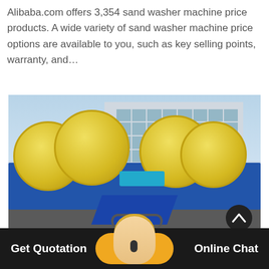Alibaba.com offers 3,354 sand washer machine price products. A wide variety of sand washer machine price options are available to you, such as key selling points, warranty, and…
[Figure (photo): Photo of large industrial sand washer machines with yellow drum/wheel components mounted on a blue metal trough frame, photographed outdoors in front of a multi-story industrial building.]
Get Quotation
Online Chat